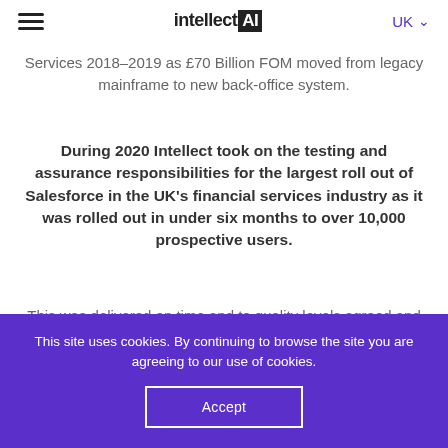intellectAI | UK
Services 2018-2019 as £70 Billion FOM moved from legacy mainframe to new back-office system.
During 2020 Intellect took on the testing and assurance responsibilities for the largest roll out of Salesforce in the UK's financial services industry as it was rolled out in under six months to over 10,000 prospective users.
This was delivered on time and to quality levels agreed and has seen extensive further
This site uses cookies. By continuing to browse the site you are agreeing to our use of cookies.
Accept